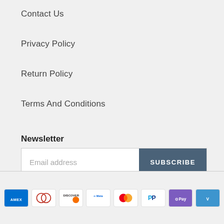Contact Us
Privacy Policy
Return Policy
Terms And Conditions
Newsletter
Email address
SUBSCRIBE
[Figure (other): Payment method icons: American Express, Diners Club, Discover, Meta Pay, Mastercard, PayPal, Google Pay (OPay), Venmo]